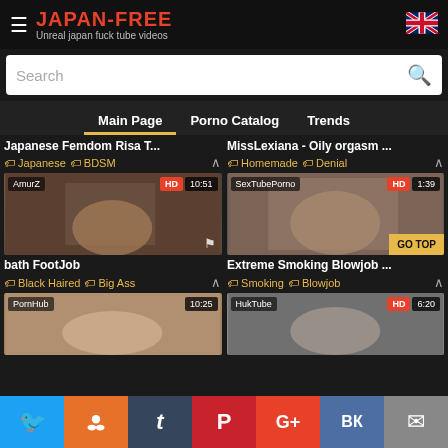JAPAN-FREE — Unreal japan fuck tube videos
Search
Main Page | Porno Catalog | Trends
Japanese Femdom Risa T...
MissLexiana - Oily orgasm ...
[Figure (screenshot): Video thumbnail for bath FootJob, source AmurZ, HD, 10:51]
[Figure (screenshot): Video thumbnail for Extreme Smoking Blowjob..., source SexTubePorno, HD, 1:39]
bath FootJob
Extreme Smoking Blowjob ...
Black Haired | Big Ass
Smoking | Blowjob
[Figure (screenshot): Video thumbnail, source PornHub, 10:25]
[Figure (screenshot): Video thumbnail, source HukTube, HD, 6:20]
Twitter | Reddit | Tumblr | Pinterest | Google+ | VK | Email